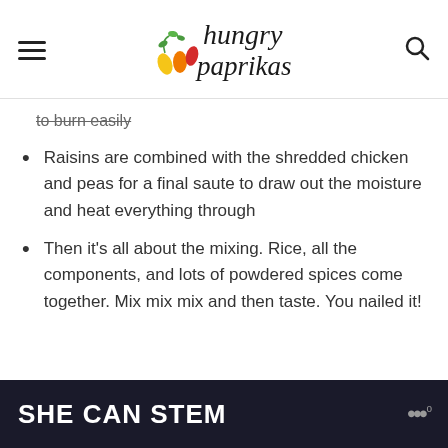hungry paprikas
to burn easily
Raisins are combined with the shredded chicken and peas for a final saute to draw out the moisture and heat everything through
Then it's all about the mixing. Rice, all the components, and lots of powdered spices come together. Mix mix mix and then taste. You nailed it!
[Figure (screenshot): SHE CAN STEM advertisement banner with dark background and mediavine logo]